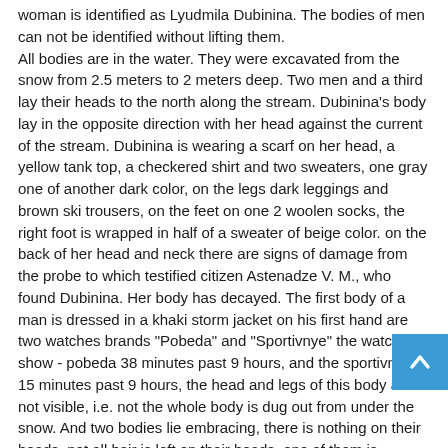woman is identified as Lyudmila Dubinina. The bodies of men can not be identified without lifting them.
All bodies are in the water. They were excavated from the snow from 2.5 meters to 2 meters deep. Two men and a third lay their heads to the north along the stream. Dubinina's body lay in the opposite direction with her head against the current of the stream. Dubinina is wearing a scarf on her head, a yellow tank top, a checkered shirt and two sweaters, one gray one of another dark color, on the legs dark leggings and brown ski trousers, on the feet on one 2 woolen socks, the right foot is wrapped in half of a sweater of beige color. on the back of her head and neck there are signs of damage from the probe to which testified citizen Astenadze V. M., who found Dubinina. Her body has decayed. The first body of a man is dressed in a khaki storm jacket on his first hand are two watches brands "Pobeda" and "Sportivnye" the watches show - pobeda 38 minutes past 9 hours, and the sportivnye 15 minutes past 9 hours, the head and legs of this body are not visible, i.e. not the whole body is dug out from under the snow. And two bodies lie embracing, there is nothing on their heads, not all hair is left on their heads, one of them is wearing a storm jacket, the same for the second, what else it's on them can only be established after lifting their bodies from the stream. The lega are not visible, since they are not fully excavated from under the snow. The bodies have decayed. The bodies are photographed. The bodies should be immediately taken out from the stream, they can further decompose even more and they can be carried away by the stream, because the current is very fast. Up the creek in a distance of six meters along the tracks a den was found at a depth of 3 to 2.5 meters. The flooring consists of 14 fir tree and 1 birch tops in the